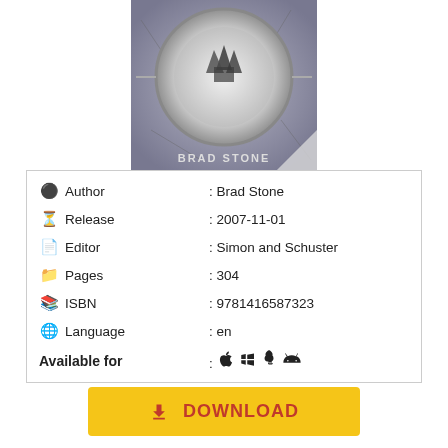[Figure (illustration): Book cover with circular emblem showing wolf/animal imagery on metallic/stone background with text BRAD STONE at bottom]
| Author | : Brad Stone |
| Release | : 2007-11-01 |
| Editor | : Simon and Schuster |
| Pages | : 304 |
| ISBN | : 9781416587323 |
| Language | : en |
| Available for | : (Apple, Windows, Linux, Android icons) |
DOWNLOAD